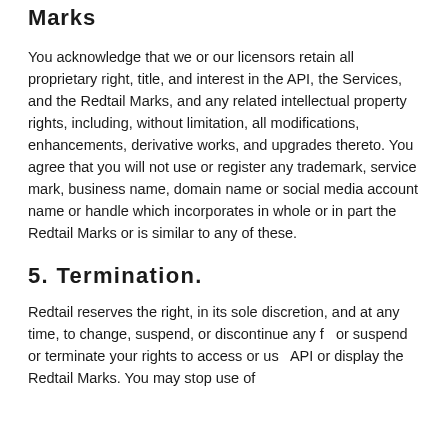Marks
You acknowledge that we or our licensors retain all proprietary right, title, and interest in the API, the Services, and the Redtail Marks, and any related intellectual property rights, including, without limitation, all modifications, enhancements, derivative works, and upgrades thereto. You agree that you will not use or register any trademark, service mark, business name, domain name or social media account name or handle which incorporates in whole or in part the Redtail Marks or is similar to any of these.
5. Termination.
Redtail reserves the right, in its sole discretion, and at any time, to change, suspend, or discontinue any f or suspend or terminate your rights to access or us API or display the Redtail Marks. You may stop use of